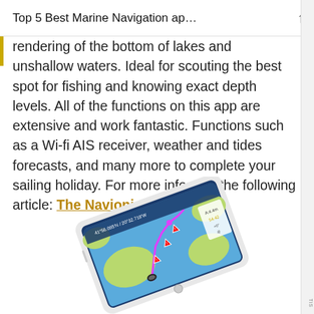Top 5 Best Marine Navigation ap…
rendering of the bottom of lakes and unshallow waters. Ideal for scouting the best spot for fishing and knowing exact depth levels. All of the functions on this app are extensive and work fantastic. Functions such as a Wi-fi AIS receiver, weather and tides forecasts, and many more to complete your sailing holiday. For more info, see the following article: The Navionics App.
[Figure (photo): A smartphone displaying the Navionics marine navigation app, showing a nautical chart with blue water, land masses, and a navigation route marked with a pink/magenta line and warning triangle icons. The phone is shown at an angle with coordinate information visible on screen.]